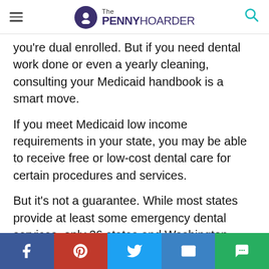The PENNY HOARDER
you're dual enrolled. But if you need dental work done or even a yearly cleaning, consulting your Medicaid handbook is a smart move.
If you meet Medicaid low income requirements in your state, you may be able to receive free or low-cost dental care for certain procedures and services.
But it's not a guarantee. While most states provide at least some emergency dental services, only 36 states and Washington, D.C. offer limited or comprehensive dental benefits for adults, according to the National Academy of State Health Policy (NASHP).
Even if your state Medicaid program includes dental, it may